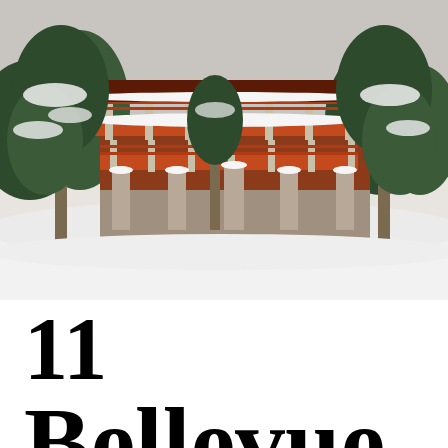[Figure (photo): Winter photograph of a large red/terracotta-colored building with wide decks and stone pillars, surrounded by snow-covered evergreen trees. Snow covers the ground and tree branches.]
11 Bellevue Court